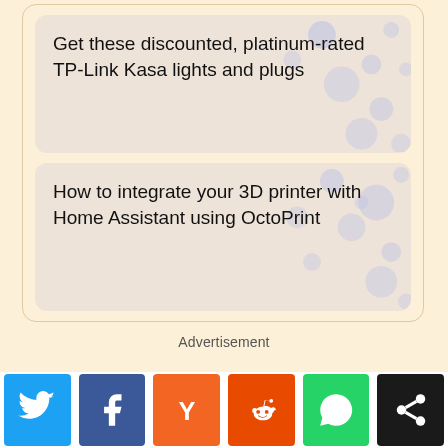Get these discounted, platinum-rated TP-Link Kasa lights and plugs
How to integrate your 3D printer with Home Assistant using OctoPrint
Advertisement
[Figure (infographic): Social share buttons: Twitter (blue), Facebook (dark blue), Hacker News Y Combinator (orange), Reddit (orange-red), WhatsApp (green), Share (black)]